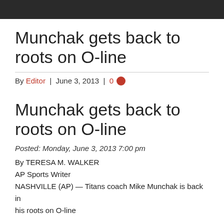Munchak gets back to roots on O-line
By Editor | June 3, 2013 | 0
Munchak gets back to roots on O-line
Posted: Monday, June 3, 2013 7:00 pm
By TERESA M. WALKER
AP Sports Writer
NASHVILLE (AP) — Titans coach Mike Munchak is back in his roots on O-line